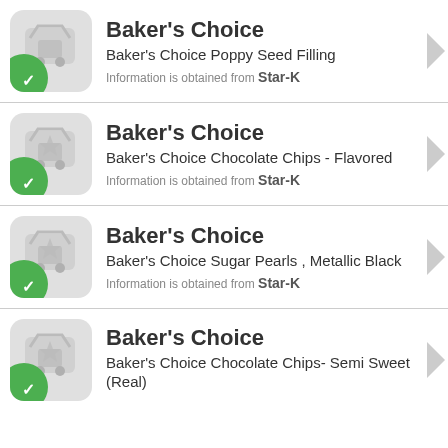Baker's Choice — Baker's Choice Poppy Seed Filling — Information is obtained from Star-K
Baker's Choice — Baker's Choice Chocolate Chips - Flavored — Information is obtained from Star-K
Baker's Choice — Baker's Choice Sugar Pearls , Metallic Black — Information is obtained from Star-K
Baker's Choice — Baker's Choice Chocolate Chips- Semi Sweet (Real) — Information is obtained from Star-K